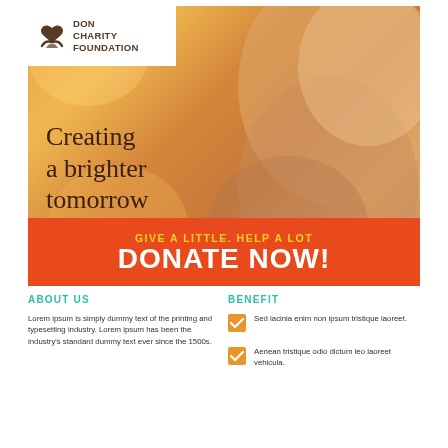[Figure (illustration): Charity foundation hero image with warm orange/golden background showing hands forming a heart shape. Includes white logo box with 'DON CHARITY FOUNDATION' text and a serif tagline 'Creating a brighter tomorrow'. Red banner at bottom with donation call-to-action.]
GIVE A LITTLE. HELP A LOT
DONATE NOW!
ABOUT US
Lorem ipsum is simply dummy text of the printing and typesetting industry. Lorem ipsum has been the industry's standard dummy text ever since the 1500s.
BENEFIT
Sed lacinia enim non ipsum tristique laoreet.
Aenean tristique odio dictum leo laoreet vehicula.